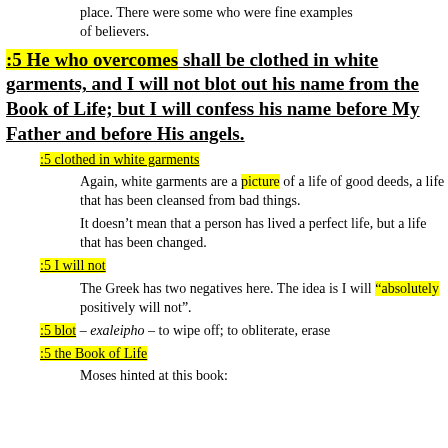place. There were some who were fine examples of believers.
:5 He who overcomes shall be clothed in white garments, and I will not blot out his name from the Book of Life; but I will confess his name before My Father and before His angels.
:5 clothed in white garments
Again, white garments are a picture of a life of good deeds, a life that has been cleansed from bad things.
It doesn’t mean that a person has lived a perfect life, but a life that has been changed.
:5 I will not
The Greek has two negatives here. The idea is I will “absolutely positively will not”.
:5 blot – exaleipho – to wipe off; to obliterate, erase
:5 the Book of Life
Moses hinted at this book: